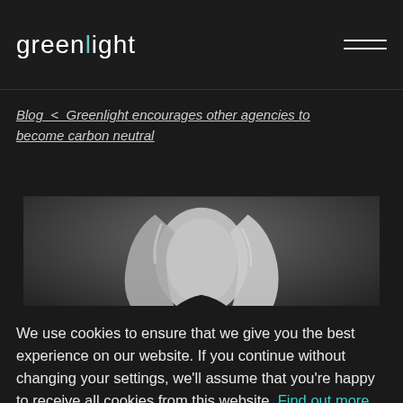greenlight
Blog < Greenlight encourages other agencies to become carbon neutral
[Figure (photo): Black and white photo of a woman with blonde hair, cropped showing upper body]
We use cookies to ensure that we give you the best experience on our website. If you continue without changing your settings, we'll assume that you're happy to receive all cookies from this website. Find out more.
ACCEPT